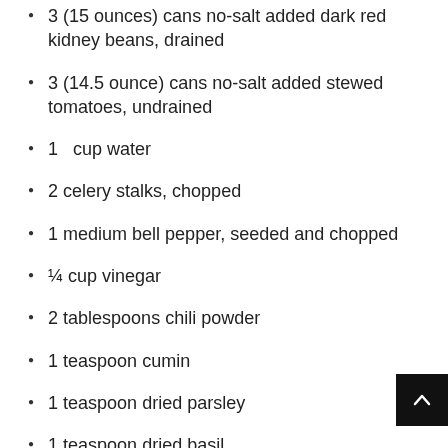3 (15 ounces) cans no-salt added dark red kidney beans, drained
3 (14.5 ounce) cans no-salt added stewed tomatoes, undrained
1   cup water
2 celery stalks, chopped
1 medium bell pepper, seeded and chopped
¼ cup vinegar
2 tablespoons chili powder
1 teaspoon cumin
1 teaspoon dried parsley
1 teaspoon dried basil
Directions: